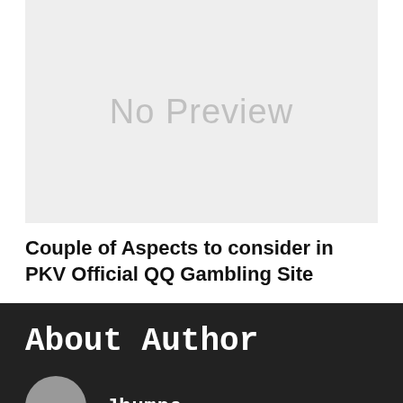[Figure (other): Gray placeholder image with 'No Preview' text]
Couple of Aspects to consider in PKV Official QQ Gambling Site
About Author
[Figure (photo): Circular author avatar placeholder in gray]
Jhumpa